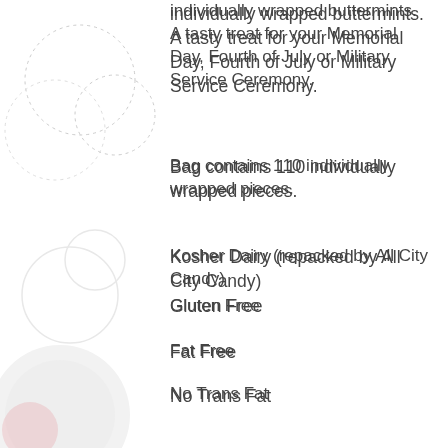individually wrapped buttermints. A tasty treat for your Memorial Day, Fourth of July or Military Service Ceremony.
Bag contains 110 individually wrapped pieces.
Kosher Dairy (repacked by All City Candy)
Gluten Free
Fat Free
No Trans Fat
Made in the USA
Follow All City Candy on Social Media: Facebook | Instagram | YouTube | Pinterest